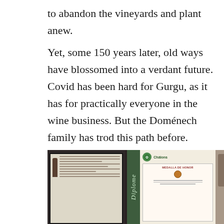to abandon the vineyards and plant anew.
Yet, some 150 years later, old ways have blossomed into a verdant future. Covid has been hard for Gurgu, as it has for practically everyone in the wine business. But the Doménech family has trod this path before. Adrián goes out each day to tend their 3,000-plus olive trees. Spring will come, then summer, then harvest; gnarled roots yield fruit.
[Figure (photo): Photograph of two framed documents/diplomas mounted on a wall. The left frame contains a document with text and an image of a wine bottle. The right frame shows a green-bordered diploma with the word 'Diplome' written vertically on the left side, and a medal certificate reading 'MEDALLA DE HONOR' inside. A third partially visible framed item is on the right edge.]